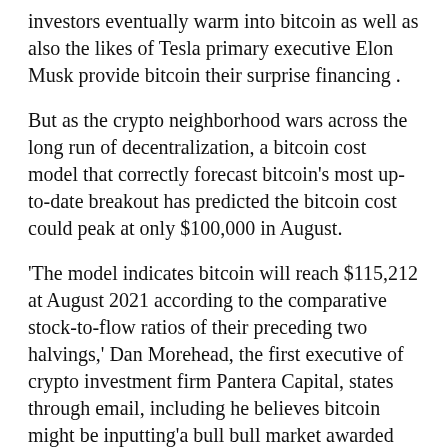investors eventually warm into bitcoin as well as also the likes of Tesla primary executive Elon Musk provide bitcoin their surprise financing .
But as the crypto neighborhood wars across the long run of decentralization, a bitcoin cost model that correctly forecast bitcoin's most up-to-date breakout has predicted the bitcoin cost could peak at only $100,000 in August.
'The model indicates bitcoin will reach $115,212 at August 2021 according to the comparative stock-to-flow ratios of their preceding two halvings,' Dan Morehead, the first executive of crypto investment firm Pantera Capital, states through email, including he believes bitcoin might be inputting 'a bull bull market awarded that the confluence of macro variables , growing principles , along with innovation going on in the distance .'
Bitcoin went through its third party halving in May this past year, together with all the bitcoin reward paid out for people who utilize their computers to affix the bitcoin